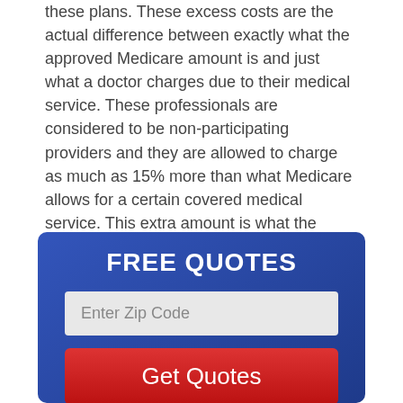these plans. These excess costs are the actual difference between exactly what the approved Medicare amount is and just what a doctor charges due to their medical service. These professionals are considered to be non-participating providers and they are allowed to charge as much as 15% more than what Medicare allows for a certain covered medical service. This extra amount is what the patient would be anticipated to pay out of their own pocket.
[Figure (infographic): Blue rounded rectangle widget with 'FREE QUOTES' title, an 'Enter Zip Code' input field, a red 'Get Quotes' button, and a partially visible logo at the bottom.]